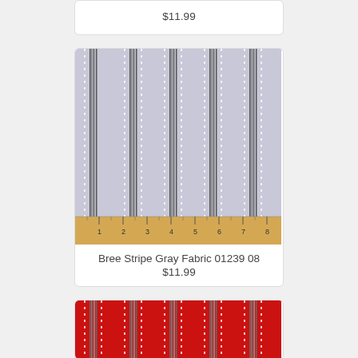$11.99
[Figure (photo): Gray striped fabric with white dotted pin lines and gray multi-line stripes on light gray background, with a wooden ruler at the bottom showing measurements 1 through 8]
Bree Stripe Gray Fabric 01239 08
$11.99
[Figure (photo): Red striped fabric with white dotted pin lines and gray multi-line stripes on red background]